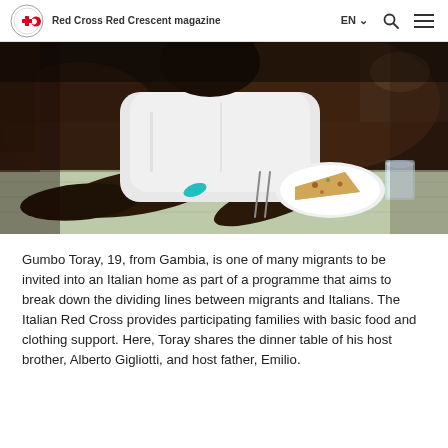Red Cross Red Crescent magazine
[Figure (photo): A young Black man in a white t-shirt sitting at a dining table with a plate of food (a slice of quiche/pizza), cutlery, and a glass of water. The scene is warm and intimate, shot in a restaurant or home dining room setting.]
Gumbo Toray, 19, from Gambia, is one of many migrants to be invited into an Italian home as part of a programme that aims to break down the dividing lines between migrants and Italians. The Italian Red Cross provides participating families with basic food and clothing support. Here, Toray shares the dinner table of his host brother, Alberto Gigliotti, and host father, Emilio.